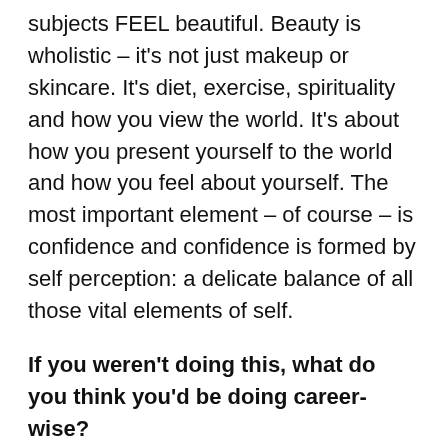subjects FEEL beautiful. Beauty is wholistic – it's not just makeup or skincare. It's diet, exercise, spirituality and how you view the world. It's about how you present yourself to the world and how you feel about yourself. The most important element – of course – is confidence and confidence is formed by self perception: a delicate balance of all those vital elements of self.
If you weren't doing this, what do you think you'd be doing career-wise?
Probably working with food somehow! I'd like to be a food writer or restaurant critic – what a dream!